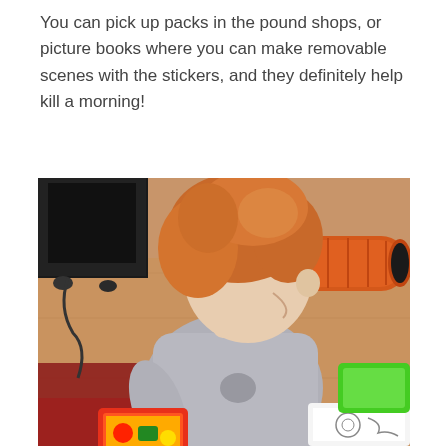You can pick up packs in the pound shops, or picture books where you can make removable scenes with the stickers, and they definitely help kill a morning!
[Figure (photo): A toddler with red/auburn hair wearing a grey long-sleeve top sits on a red rug on a wooden floor, looking down at a coloring/sticker book. In the background is a black piece of furniture on wheels, and an orange foam roller on the right side.]